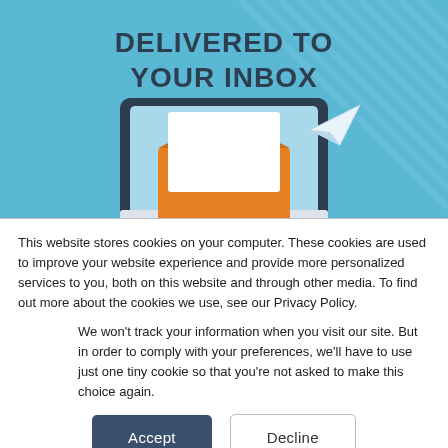[Figure (illustration): Blue background banner with text 'DELIVERED TO YOUR INBOX' and an illustration of a desktop monitor showing an open orange envelope with a white letter, and a paper airplane flying to the right. Diagonal light blue stripes pattern in background.]
This website stores cookies on your computer. These cookies are used to improve your website experience and provide more personalized services to you, both on this website and through other media. To find out more about the cookies we use, see our Privacy Policy.
We won't track your information when you visit our site. But in order to comply with your preferences, we'll have to use just one tiny cookie so that you're not asked to make this choice again.
Accept
Decline